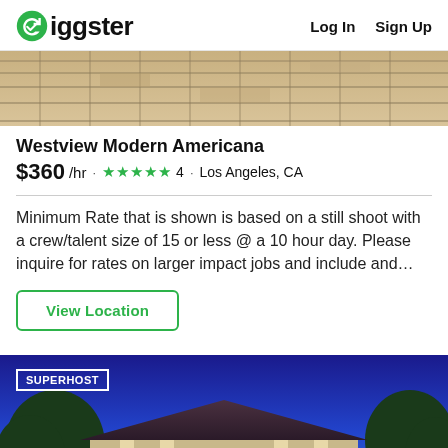Giggster  Log In  Sign Up
[Figure (photo): Top portion of a stone/brick patio ground viewed from an angle]
Westview Modern Americana
$360/hr · ★★★★★ 4 · Los Angeles, CA
Minimum Rate that is shown is based on a still shoot with a crew/talent size of 15 or less @ a 10 hour day. Please inquire for rates on larger impact jobs and include and…
View Location
[Figure (photo): Night exterior photo of a house with blue sky and trees, showing a SUPERHOST badge overlay]